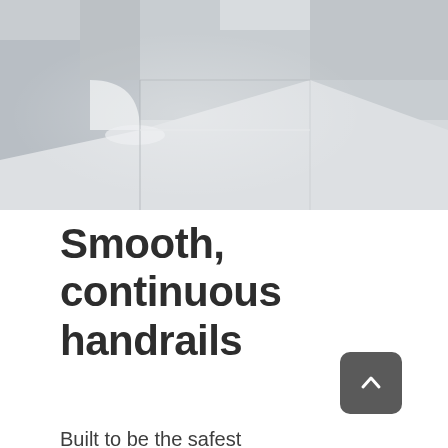[Figure (photo): A 3D rendered architectural image showing smooth white/light gray curved and angular surfaces — appears to be abstract staircase or handrail geometry in a minimalist style, with soft shadows and a light gray color palette.]
Smooth, continuous handrails
Built to be the safest